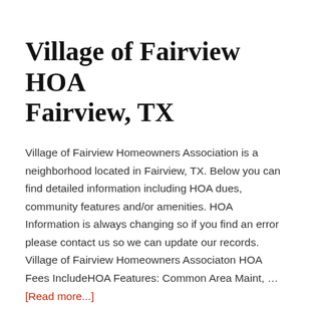Village of Fairview HOA Fairview, TX
Village of Fairview Homeowners Association is a neighborhood located in Fairview, TX. Below you can find detailed information including HOA dues, community features and/or amenities. HOA Information is always changing so if you find an error please contact us so we can update our records. Village of Fairview Homeowners Associaton HOA Fees IncludeHOA Features: Common Area Maint, … [Read more...]
Village Fairview Homeowners TX Del...